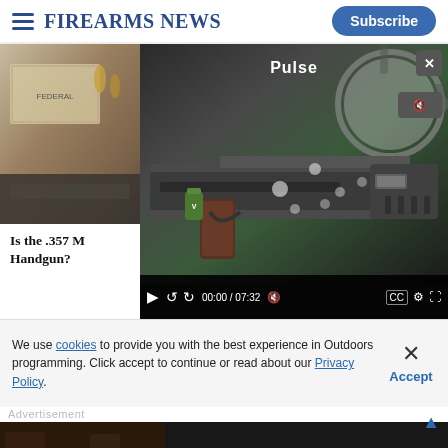Firearms News — Subscribe
[Figure (screenshot): Firearms News website screenshot showing a video player with a firearm (appears to be a bullpup-style pistol with accessories), partially overlaid on a background image of ammunition boxes and rifle. Video controls show 00:00 / 07:32. A 'Pulse' label appears on the video overlay.]
Is the .357 M Handgun?
We use cookies to provide you with the best experience in Outdoors programming. Click accept to continue or read about our Privacy Policy.
Advertisement
[Figure (photo): Savage Arms advertisement banner: 'THE BEST STORIES START WITH SAVAGE' with Savage logo on dark background with firearms imagery.]